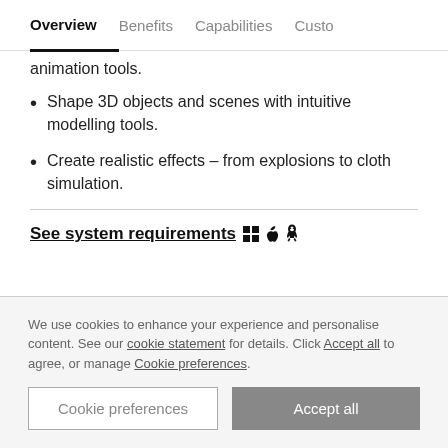Overview   Benefits   Capabilities   Custo
animation tools.
Shape 3D objects and scenes with intuitive modelling tools.
Create realistic effects – from explosions to cloth simulation.
See system requirements 🪟  🍎  🐧
We use cookies to enhance your experience and personalise content. See our cookie statement for details. Click Accept all to agree, or manage Cookie preferences.